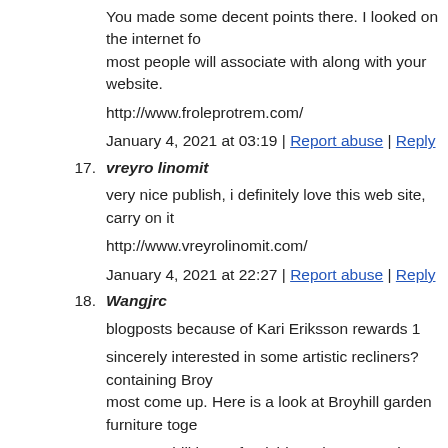You made some decent points there. I looked on the internet fo most people will associate with along with your website.
http://www.froleprotrem.com/
January 4, 2021 at 03:19 | Report abuse | Reply
17. vreyro linomit
very nice publish, i definitely love this web site, carry on it
http://www.vreyrolinomit.com/
January 4, 2021 at 22:27 | Report abuse | Reply
18. Wangjrc
blogposts because of Kari Eriksson rewards 1
sincerely interested in some artistic recliners? containing Broy most come up. Here is a look at Broyhill garden furniture toge
over Broyhill home furnishings the system has a tremendous v
Read your ArticleBroyhill pieces of furniture includes many ad furnishings includes both effective of craftmanship not to men your property in ways of shade sheets.